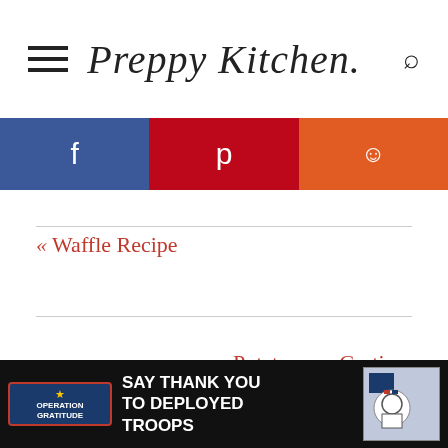Preppy Kitchen
[Figure (other): Social sharing bar with Facebook (blue), Pinterest (red), and Reddit (orange) buttons]
« Waffle Recipe
Potatoes au Gratin »
[Figure (other): Advertisement banner: Operation Gratitude - SAY THANK YOU TO DEPLOYED TROOPS]